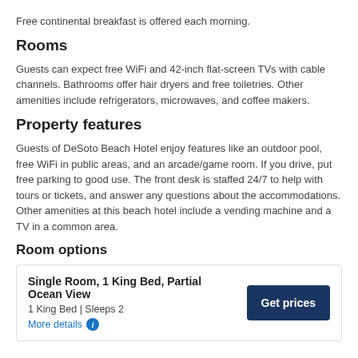Free continental breakfast is offered each morning.
Rooms
Guests can expect free WiFi and 42-inch flat-screen TVs with cable channels. Bathrooms offer hair dryers and free toiletries. Other amenities include refrigerators, microwaves, and coffee makers.
Property features
Guests of DeSoto Beach Hotel enjoy features like an outdoor pool, free WiFi in public areas, and an arcade/game room. If you drive, put free parking to good use. The front desk is staffed 24/7 to help with tours or tickets, and answer any questions about the accommodations. Other amenities at this beach hotel include a vending machine and a TV in a common area.
Room options
Single Room, 1 King Bed, Partial Ocean View
1 King Bed | Sleeps 2
More details